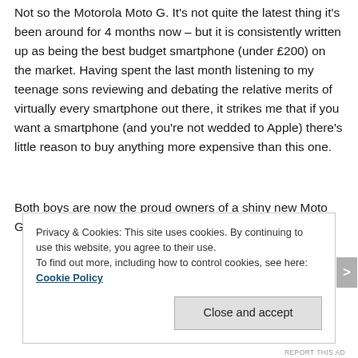Not so the Motorola Moto G. It's not quite the latest thing it's been around for 4 months now – but it is consistently written up as being the best budget smartphone (under £200) on the market. Having spent the last month listening to my teenage sons reviewing and debating the relative merits of virtually every smartphone out there, it strikes me that if you want a smartphone (and you're not wedded to Apple) there's little reason to buy anything more expensive than this one.
Both boys are now the proud owners of a shiny new Moto G, so I asked them to give me the highlights:
Privacy & Cookies: This site uses cookies. By continuing to use this website, you agree to their use.
To find out more, including how to control cookies, see here: Cookie Policy